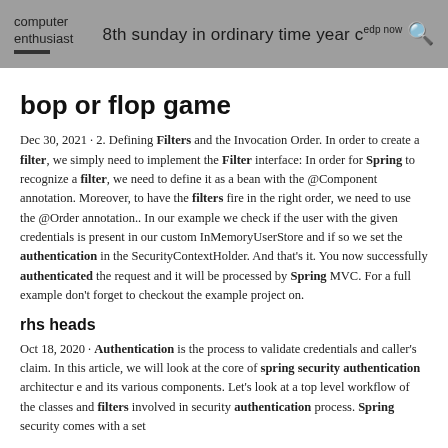computer enthusiast | 8th sunday in ordinary time year c edp now
bop or flop game
Dec 30, 2021 · 2. Defining Filters and the Invocation Order. In order to create a filter, we simply need to implement the Filter interface: In order for Spring to recognize a filter, we need to define it as a bean with the @Component annotation. Moreover, to have the filters fire in the right order, we need to use the @Order annotation.. In our example we check if the user with the given credentials is present in our custom InMemoryUserStore and if so we set the authentication in the SecurityContextHolder. And that's it. You now successfully authenticated the request and it will be processed by Spring MVC. For a full example don't forget to checkout the example project on.
rhs heads
Oct 18, 2020 · Authentication is the process to validate credentials and caller's claim. In this article, we will look at the core of spring security authentication architectur e and its various components. Let's look at a top level workflow of the classes and filters involved in security authentication process. Spring security comes with a set